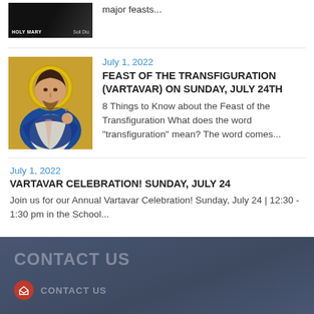[Figure (photo): Partial image of Holy Mary book or media thumbnail with dark background and text 'HOLY MARY' and 'Soli Diu']
major feasts...
[Figure (illustration): Byzantine-style icon painting of Jesus Christ with golden halo on blue and gold background]
July 1, 2022
FEAST OF THE TRANSFIGURATION (VARTAVAR) ON SUNDAY, JULY 24TH
8 Things to Know about the Feast of the Transfiguration What does the word "transfiguration" mean? The word comes...
July 1, 2022
VARTAVAR CELEBRATION! SUNDAY, JULY 24
Join us for our Annual Vartavar Celebration! Sunday, July 24 | 12:30 - 1:30 pm in the School...
CONTACT US
CONTACT US